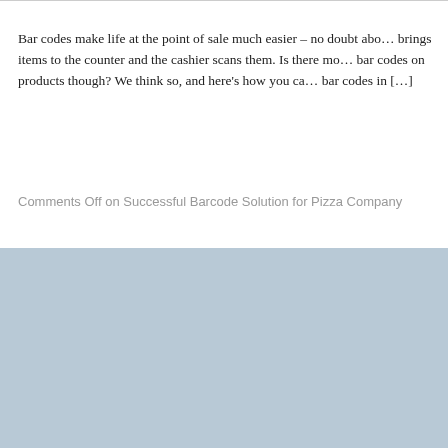Bar codes make life at the point of sale much easier – no doubt about it. A customer brings items to the counter and the cashier scans them. Is there more value to be found in bar codes on products though? We think so, and here's how you can use product bar codes in […]
Comments Off on Successful Barcode Solution for Pizza Company
Welcome to Condor's website, We use cookies to improve your browsing experience. Continuing to use this site means you agree to our use of cookies. Read more
I AGREE
SUPPORT:
Create Support
Download Remo
Login to Custom
Co…reserved.